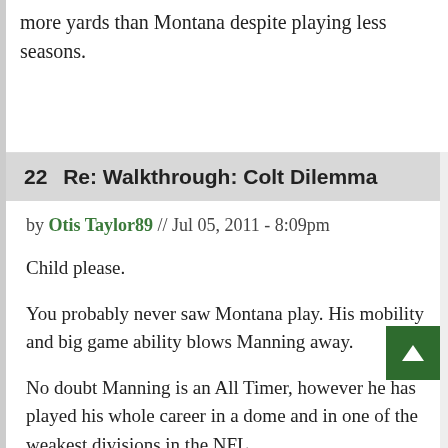more yards than Montana despite playing less seasons.
22  Re: Walkthrough: Colt Dilemma
by Otis Taylor89 // Jul 05, 2011 - 8:09pm
Child please.
You probably never saw Montana play. His mobility and big game ability blows Manning away.
No doubt Manning is an All Timer, however he has played his whole career in a dome and in one of the weakest divisions in the NFL.